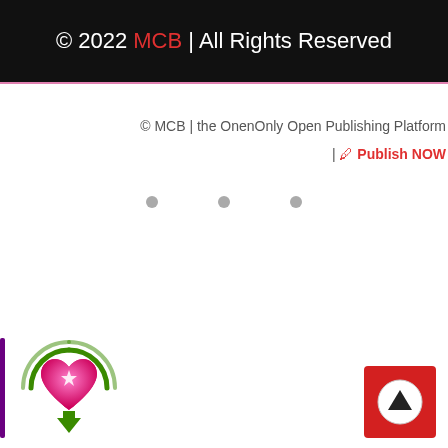© 2022 MCB | All Rights Reserved
© MCB | the OnenOnly Open Publishing Platform | 🖊 Publish NOW
[Figure (other): Three grey dots in a row (pagination or decoration indicators)]
[Figure (logo): Logo: a pink sparkle heart inside green circular wifi-like arcs with a green downward arrow below, framed by a vertical purple bar on the left]
[Figure (other): Red square button with a white circle containing a dark upward-pointing triangle (scroll-to-top button)]